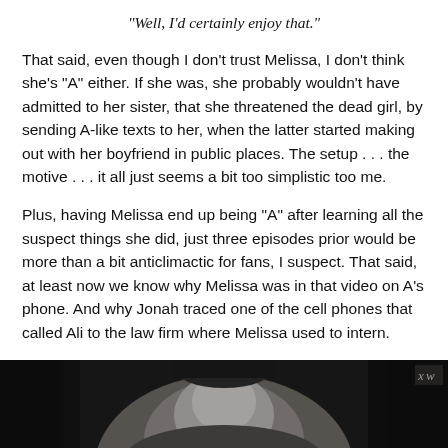“Well, I’d certainly enjoy that.”
That said, even though I don’t trust Melissa, I don’t think she’s “A” either.  If she was, she probably wouldn’t have admitted to her sister, that she threatened the dead girl, by sending A-like texts to her, when the latter started making out with her boyfriend in public places.  The setup . . . the motive . . . it all just seems a bit too simplistic too me.
Plus, having Melissa end up being “A” after learning all the suspect things she did, just three episodes prior would be more than a bit anticlimactic for fans, I suspect.  That said, at least now we know why Melissa was in that video on A’s phone.  And why Jonah traced one of the cell phones that called Ali to the law firm where Melissa used to intern.
[Figure (photo): Black and white photograph showing a person, partially visible, against a dark background.]